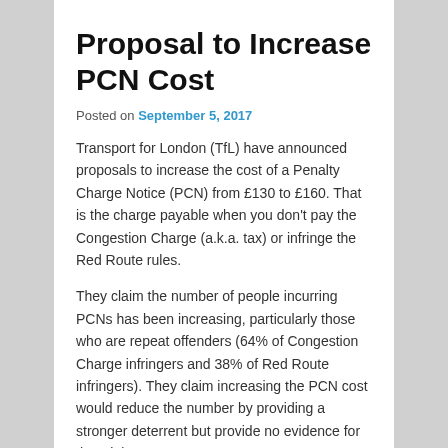Proposal to Increase PCN Cost
Posted on September 5, 2017
Transport for London (TfL) have announced proposals to increase the cost of a Penalty Charge Notice (PCN) from £130 to £160. That is the charge payable when you don't pay the Congestion Charge (a.k.a. tax) or infringe the Red Route rules.
They claim the number of people incurring PCNs has been increasing, particularly those who are repeat offenders (64% of Congestion Charge infringers and 38% of Red Route infringers). They claim increasing the PCN cost would reduce the number by providing a stronger deterrent but provide no evidence for that claim.